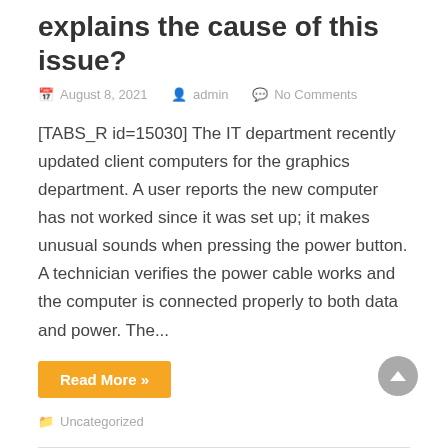explains the cause of this issue?
August 8, 2021   admin   No Comments
[TABS_R id=15030] The IT department recently updated client computers for the graphics department. A user reports the new computer has not worked since it was set up; it makes unusual sounds when pressing the power button. A technician verifies the power cable works and the computer is connected properly to both data and power. The...
Read More »
Uncategorized
A user does not have access to